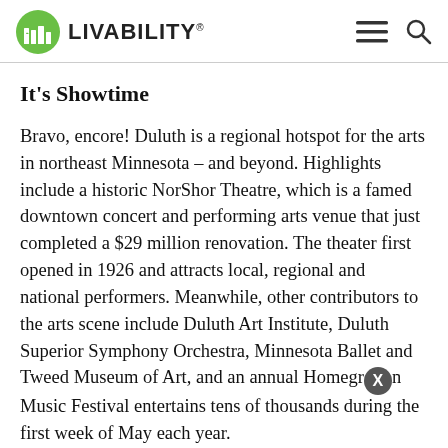LIVABILITY
It's Showtime
Bravo, encore! Duluth is a regional hotspot for the arts in northeast Minnesota – and beyond. Highlights include a historic NorShor Theatre, which is a famed downtown concert and performing arts venue that just completed a $29 million renovation. The theater first opened in 1926 and attracts local, regional and national performers. Meanwhile, other contributors to the arts scene include Duluth Art Institute, Duluth Superior Symphony Orchestra, Minnesota Ballet and Tweed Museum of Art, and an annual Homegrown Music Festival entertains tens of thousands during the first week of May each year.